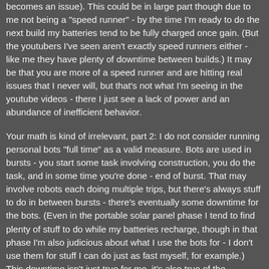becomes an issue). This could be in large part though due to me not being a "speed runner" - by the time I'm ready to do the next build my batteries tend to be fully charged once gain. (But the youtubers I've seen aren't exactly speed runners either - like me they have plenty of downtime between builds.) It may be that you are more of a speed runner and are hitting real issues that I never will, but that's not what I'm seeing in the youtube videos - there I just see a lack of power and an abundance of inefficient behavior.
Your math is kind of irrelevant, part 2: I do not consider running personal bots "full time" as a valid measure. Bots are used in bursts - you start some task involving construction, you do the task, and in some time you're done - end of burst. That may involve robots each doing multiple trips, but there's always stuff to do in between bursts - there's eventually some downtime for the bots. (Even in the portable solar panel phase I tend to find plenty of stuff to do while my batteries recharge, though in that phase I'm also judicious about what I use the bots for - I don't use them for stuff I can do just as fast myself, for example.) This downtime isn't just true for me, it's also true of the youtubers. You should have enough batteries to handle your burst size.